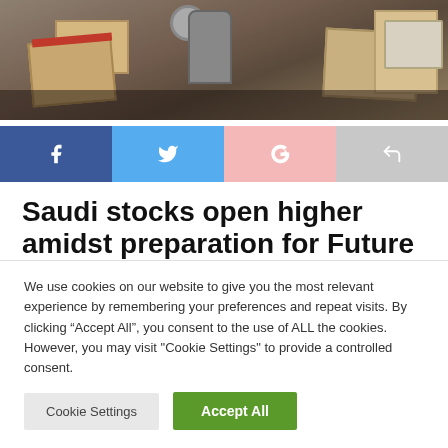[Figure (photo): A workspace with cardboard boxes, packing tape dispenser, and shipping/packaging materials on a dark surface.]
[Figure (infographic): Row of four social media sharing buttons: Facebook (blue), Twitter (light blue), Google+ (pink), and Share/forward (grey), each with respective icons in white.]
Saudi stocks open higher amidst preparation for Future
We use cookies on our website to give you the most relevant experience by remembering your preferences and repeat visits. By clicking “Accept All”, you consent to the use of ALL the cookies. However, you may visit "Cookie Settings" to provide a controlled consent.